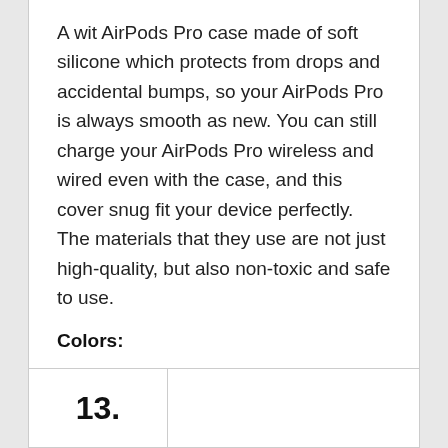A wit AirPods Pro case made of soft silicone which protects from drops and accidental bumps, so your AirPods Pro is always smooth as new. You can still charge your AirPods Pro wireless and wired even with the case, and this cover snug fit your device perfectly. The materials that they use are not just high-quality, but also non-toxic and safe to use.
Colors:
Black
13.